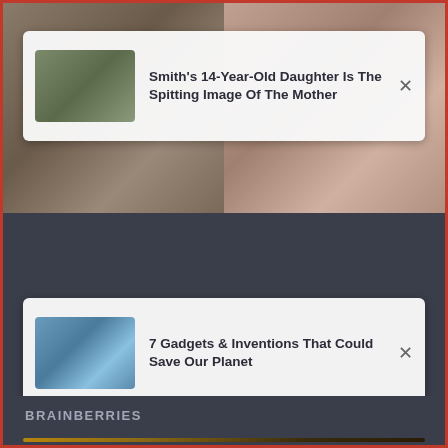[Figure (screenshot): Top photo strip with two images side by side: left shows a couple, right shows a close-up of a woman's face/lips]
Smith's 14-Year-Old Daughter Is The Spitting Image Of The Mother
[Figure (screenshot): Thumbnail image of person holding a transparent/glass panel outdoors]
7 Gadgets & Inventions That Could Save Our Planet
Actors Who Turned Into Gorgeous Adults
BRAINBERRIES
[Figure (photo): Woman in black bikini top posing on a couch/sofa in a warm-lit room]